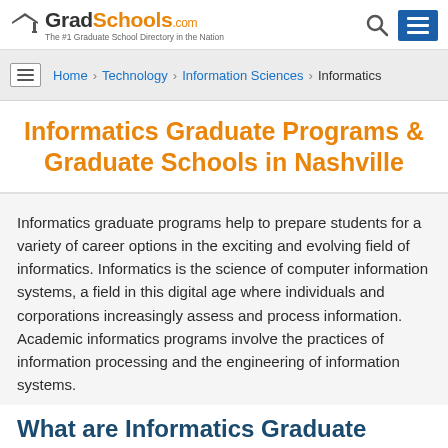GradSchools.com — The #1 Graduate School Directory in the Nation
Home > Technology > Information Sciences > Informatics
Informatics Graduate Programs & Graduate Schools in Nashville
Informatics graduate programs help to prepare students for a variety of career options in the exciting and evolving field of informatics. Informatics is the science of computer information systems, a field in this digital age where individuals and corporations increasingly assess and process information. Academic informatics programs involve the practices of information processing and the engineering of information systems.
What are Informatics Graduate